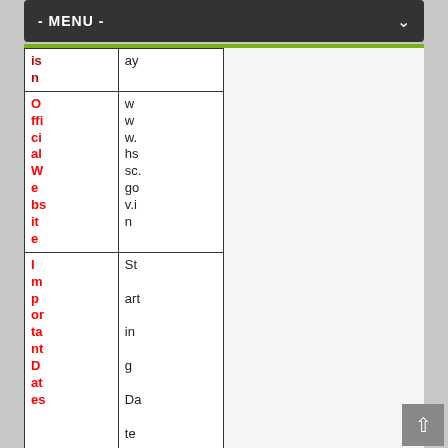- MENU -
| Field | Value |
| --- | --- |
| is n | ay |
| Official Website | www.hssc.gov.in |
| Important Dates | Starting Date for Apply |